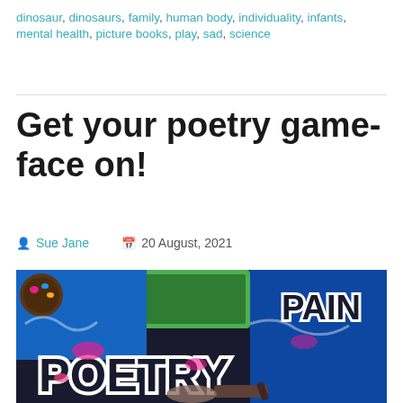dinosaur, dinosaurs, family, human body, individuality, infants, mental health, picture books, play, sad, science
Get your poetry game-face on!
Sue Jane  20 August, 2021
[Figure (photo): A person painting colorful graffiti on a wall with the word POETRY visible, using bright pink, green, blue and white colors]